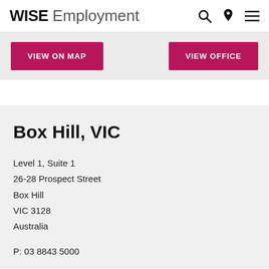WISE Employment
VIEW ON MAP
VIEW OFFICE
Box Hill, VIC
Level 1, Suite 1
26-28 Prospect Street
Box Hill
VIC 3128
Australia
P: 03 8843 5000